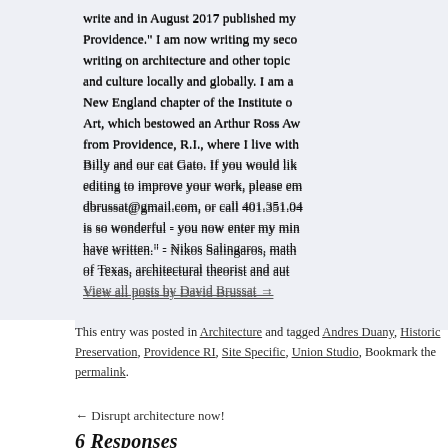write and in August 2017 published my Providence." I am now writing my second writing on architecture and other topics and culture locally and globally. I am a New England chapter of the Institute of Art, which bestowed an Arthur Ross Award from Providence, R.I., where I live with Billy and our cat Gato. If you would like editing to improve your work, please email dbrussat@gmail.com, or call 401.351.04 is so wonderful - you now enter my mind have written." - Nikos Salingaros, math of Texas, architectural theorist and author
View all posts by David Brussat →
This entry was posted in Architecture and tagged Andres Duany, Historic Preservation, Providence RI, Site Specific, Union Studio. Bookmark the permalink.
← Disrupt architecture now!
6 Responses